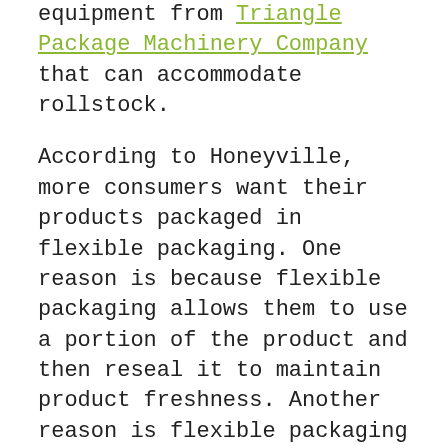equipment from Triangle Package Machinery Company that can accommodate rollstock.
According to Honeyville, more consumers want their products packaged in flexible packaging. One reason is because flexible packaging allows them to use a portion of the product and then reseal it to maintain product freshness. Another reason is flexible packaging lends itself to single-serve packaging, which offers portability for their on-the-go lifestyles. That's why Honeyville not only installed vertical form/fill/seal and horizontal form/fill/seal equipment, but a cupping line, too.
With the packaging line in place, as well as cutting-edge food safety protocols and